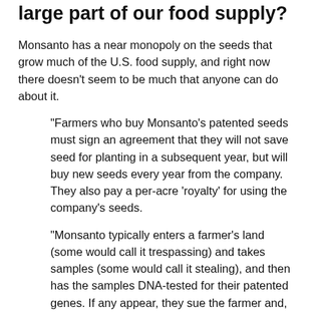large part of our food supply?
Monsanto has a near monopoly on the seeds that grow much of the U.S. food supply, and right now there doesn't seem to be much that anyone can do about it.
"Farmers who buy Monsanto's patented seeds must sign an agreement that they will not save seed for planting in a subsequent year, but will buy new seeds every year from the company. They also pay a per-acre 'royalty' for using the company's seeds.
"Monsanto typically enters a farmer's land (some would call it trespassing) and takes samples (some would call it stealing), and then has the samples DNA-tested for their patented genes. If any appear, they sue the farmer and, since farmers are notoriously outgunned, legally and financially, they end up settling for an undisclosed amount with the company. The amount is undisclosed because, along with the settlement, there is a gag order and the farmer is